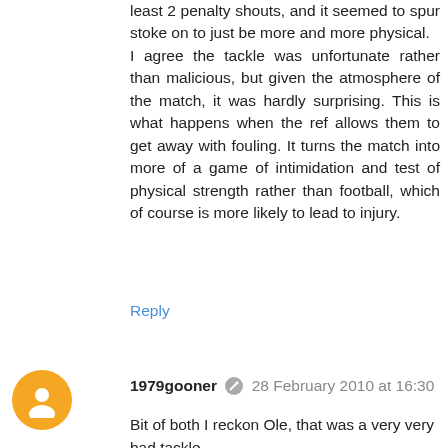least 2 penalty shouts, and it seemed to spur stoke on to just be more and more physical.
I agree the tackle was unfortunate rather than malicious, but given the atmosphere of the match, it was hardly surprising. This is what happens when the ref allows them to get away with fouling. It turns the match into more of a game of intimidation and test of physical strength rather than football, which of course is more likely to lead to injury.
Reply
1979gooner  28 February 2010 at 16:30
Bit of both I reckon Ole, that was a very very bad tackle.

http://www.bbc.co.uk/dna/606/A64068267

http://www.bbc.co.uk/dna/606/A64064748

http://www.bbc.co.uk/dna/606/A64061110

just scouted the bbc fora briefly and it's interesting to note that there is nowhere near a majority condemning the